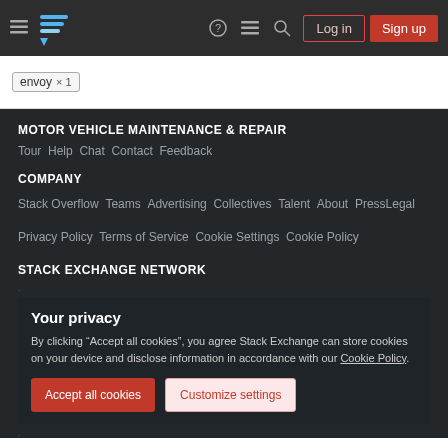Navigation bar with hamburger menu, Stack Overflow logo, help, chat, search icons, Log in and Sign up buttons
envoy × 1
MOTOR VEHICLE MAINTENANCE & REPAIR
Tour   Help   Chat   Contact   Feedback
COMPANY
Stack Overflow   Teams   Advertising   Collectives   Talent   About   Press   Legal   Privacy Policy   Terms of Service   Cookie Settings   Cookie Policy
STACK EXCHANGE NETWORK
Your privacy
By clicking "Accept all cookies", you agree Stack Exchange can store cookies on your device and disclose information in accordance with our Cookie Policy.
Accept all cookies   Customize settings